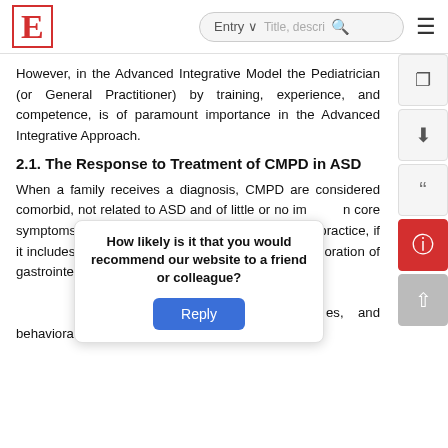E  Entry  [search bar]  [menu]
However, in the Advanced Integrative Model the Pediatrician (or General Practitioner) by training, experience, and competence, is of paramount importance in the Advanced Integrative Approach.
2.1. The Response to Treatment of CMPD in ASD
When a family receives a diagnosis, CMPD are considered comorbid, not related to ASD and of little or no impact on core symptoms or trajectory of ASD. The recommended practice, if it includes exploration of CMPD, is often a limited exploration of gastrointestinal issues beyond the neurological, sleep, or metabolic problems. In a recent survey of 1000 general practitioners' education, guidelines, practices, and behavioral interventions for ASD, the out-of-
How likely is it that you would recommend our website to a friend or colleague?
Reply